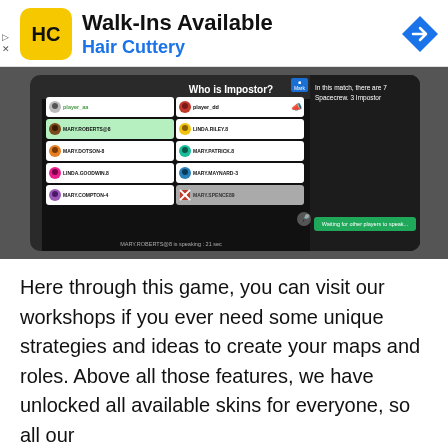[Figure (screenshot): Hair Cuttery advertisement banner with logo, 'Walk-Ins Available' title, and navigation icon]
[Figure (screenshot): Mobile game screenshot showing 'Who is Impostor?' voting screen with player list including player_aa, player_dd, MARY.ROBERTS@8, LINDA.RILEY.8, MARY.DOTSON-8, MARY.PATRICK.8, LINDA.GOODWIN.8, MARY.MAYNARD-3, MARY.COMPTON-4, MARY.SPENCE89. Right panel shows 'In this match, there are 7 Spacecrew. 3 Impostor'. Bottom shows 'MARY.ROBERTS@8 is speaking: 21 sec' and 'Waiting for other players to speak...']
Here through this game, you can visit our workshops if you ever need some unique strategies and ideas to create your maps and roles. Above all those features, we have unlocked all available skins for everyone, so all our